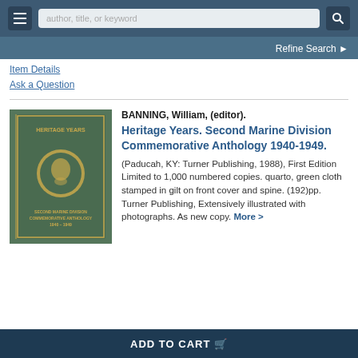author, title, or keyword | Refine Search
Item Details
Ask a Question
[Figure (photo): Photo of a green cloth hardcover book titled Heritage Years Second Marine Division Commemorative Anthology 1940-1949, stamped in gilt on front cover]
BANNING, William, (editor). Heritage Years. Second Marine Division Commemorative Anthology 1940-1949. (Paducah, KY: Turner Publishing, 1988), First Edition Limited to 1,000 numbered copies. quarto, green cloth stamped in gilt on front cover and spine. (192)pp. Turner Publishing, Extensively illustrated with photographs. As new copy. More >
ADD TO CART